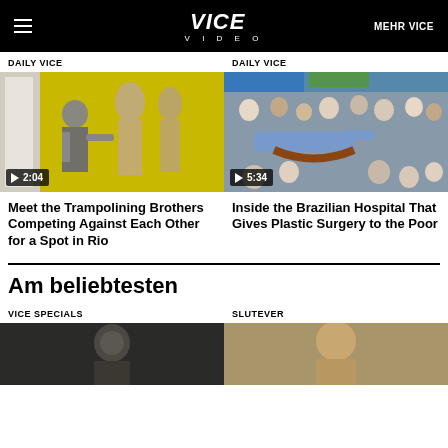VICE VIDEO | MEHR VICE
DAILY VICE
[Figure (photo): An older man painting large alien-like figures on a yellow wall in a studio. Play button overlay showing 2:04 duration.]
Meet the Trampolining Brothers Competing Against Each Other for a Spot in Rio
DAILY VICE
[Figure (photo): A crowded street scene with people in a procession, some lifting/carrying a person. Play button overlay showing 5:34 duration.]
Inside the Brazilian Hospital That Gives Plastic Surgery to the Poor
Am beliebtesten
VICE SPECIALS
[Figure (photo): Partially visible dark thumbnail image for Vice Specials section.]
SLUTEVER
[Figure (photo): Partially visible dark thumbnail image for Slutever section.]